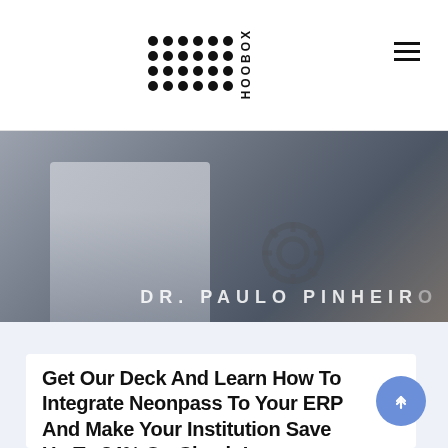HOOBOX
[Figure (photo): Hero banner showing a person in a white coat (doctor/medical professional) with a gear/wheel object in the background. Text overlay reads 'DR. PAULO PINHEIRO' at the bottom right.]
Get Our Deck And Learn How To Integrate Neonpass To Your ERP And Make Your Institution Save Up To 84% On Check-In Enhancing Patient